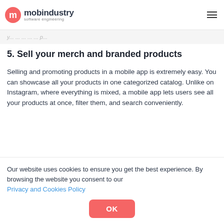mobindustry software engineering
[faded previous text]
5. Sell your merch and branded products
Selling and promoting products in a mobile app is extremely easy. You can showcase all your products in one categorized catalog. Unlike on Instagram, where everything is mixed, a mobile app lets users see all your products at once, filter them, and search conveniently.
Our website uses cookies to ensure you get the best experience. By browsing the website you consent to our Privacy and Cookies Policy
OK